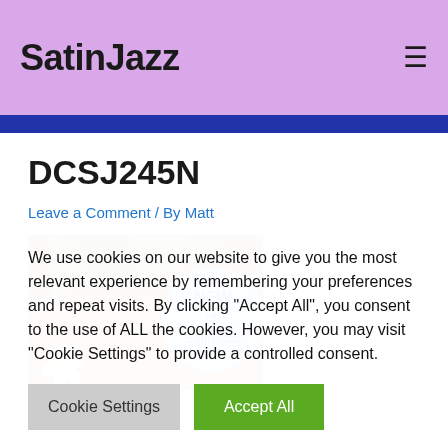SatinJazz
DCSJ245N
Leave a Comment / By Matt
[Figure (photo): Partial image of a woman's face with blonde/grey hair and a daisy flower, with a blue circular badge overlay reading 'NEW on SatinJazz']
We use cookies on our website to give you the most relevant experience by remembering your preferences and repeat visits. By clicking "Accept All", you consent to the use of ALL the cookies. However, you may visit "Cookie Settings" to provide a controlled consent.
Cookie Settings | Accept All